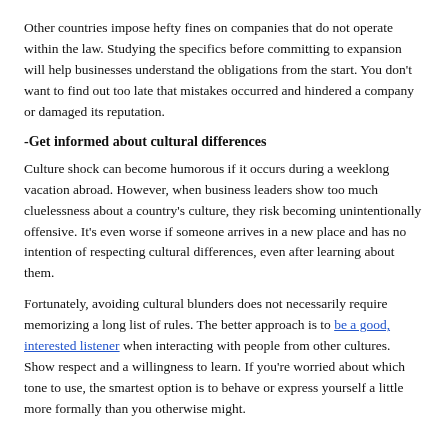Other countries impose hefty fines on companies that do not operate within the law. Studying the specifics before committing to expansion will help businesses understand the obligations from the start. You don't want to find out too late that mistakes occurred and hindered a company or damaged its reputation.
-Get informed about cultural differences
Culture shock can become humorous if it occurs during a weeklong vacation abroad. However, when business leaders show too much cluelessness about a country's culture, they risk becoming unintentionally offensive. It's even worse if someone arrives in a new place and has no intention of respecting cultural differences, even after learning about them.
Fortunately, avoiding cultural blunders does not necessarily require memorizing a long list of rules. The better approach is to be a good, interested listener when interacting with people from other cultures. Show respect and a willingness to learn. If you're worried about which tone to use, the smartest option is to behave or express yourself a little more formally than you otherwise might.